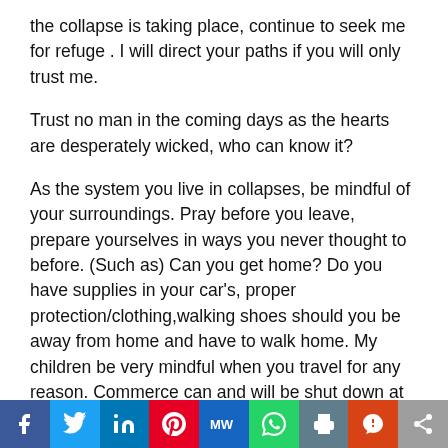the collapse is taking place, continue to seek me for refuge . I will direct your paths if you will only trust me.

Trust no man in the coming days as the hearts are desperately wicked, who can know it?

As the system you live in collapses, be mindful of your surroundings. Pray before you leave, prepare yourselves in ways you never thought to before. (Such as) Can you get home? Do you have supplies in your car's, proper protection/clothing,walking shoes should you be away from home and have to walk home. My children be very mindful when you travel for any reason. Commerce can and will be shut down at a
[Figure (infographic): Social media sharing bar with icons for Facebook, Twitter, LinkedIn, Pinterest, MeWe, WhatsApp, Print, Parler, and Share]